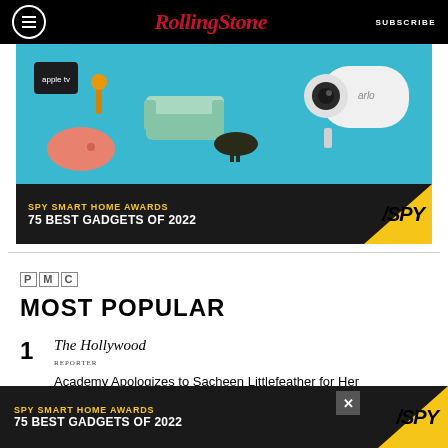Rolling Stone | SUBSCRIBE
[Figure (photo): SPY Smart Home Awards advertisement showing smart home devices including a security camera, Google Home speaker, Apple TV, and miniature furniture on a teal background. Text reads: SPY SMART HOME AWARDS 75 BEST GADGETS OF 2022]
PMC
MOST POPULAR
1  The Hollywood Reporter  Academy Apologizes to Sacheen Littlefeather for Her Mistreatment at the 1973 Oscars (Exclusive)
[Figure (photo): SPY Smart Home Awards bottom advertisement banner: SPY SMART HOME AWARDS 75 BEST GADGETS OF 2022]